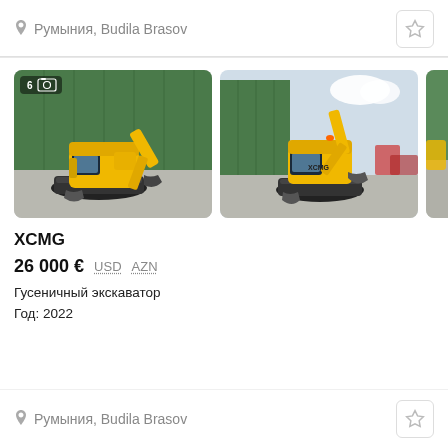Румыния, Budila Brasov
[Figure (photo): Two yellow XCMG mini crawler excavators parked in front of a green metal building. Left photo shows a side view with a photo count badge showing 6. Right photo shows a front-angled view of the same excavator model.]
XCMG
26 000 € USD AZN
Гусеничный экскаватор
Год: 2022
Румыния, Budila Brasov